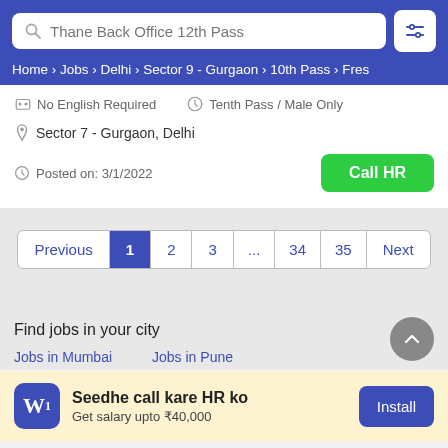Thane Back Office 12th Pass | Home › Jobs › Delhi › Sector 9 - Gurgaon › 10th Pass › Fres
No English Required | Tenth Pass / Male Only
Sector 7 - Gurgaon, Delhi
Posted on: 3/1/2022
Call HR
Previous 1 2 3 ... 34 35 Next
Find jobs in your city
Jobs in Mumbai | Jobs in Pune
Seedhe call kare HR ko
Get salary upto ₹40,000
Install